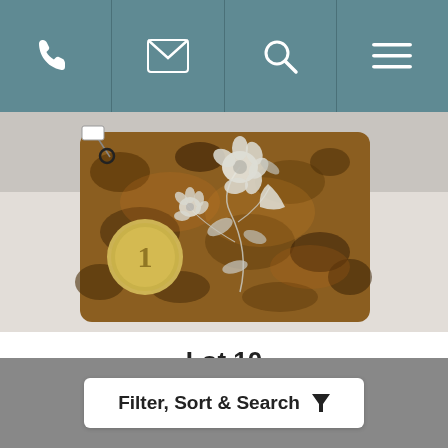Navigation bar with phone, email, search, and menu icons
[Figure (photo): A Victorian tortoiseshell card case with mother-of-pearl floral inlay decoration, shown alongside a 1 euro coin for scale. The item has a dark amber/brown mottled surface with white flower and leaf inlay motifs.]
Lot 10
A very nice example of a Victorian torto...
Hammer €90
Filter, Sort & Search